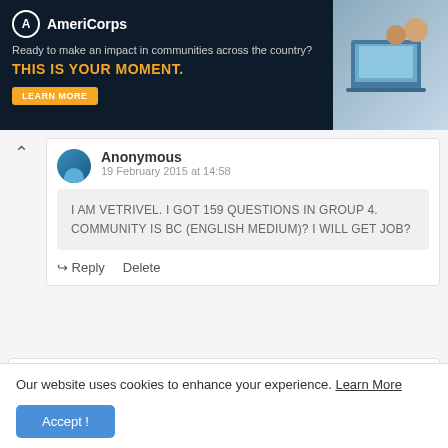[Figure (other): AmeriCorps advertisement banner. Text: 'Ready to make an impact in communities across the country? THIS IS YOUR MOMENT.' with LEARN MORE button and image of students at computers.]
Anonymous
19 February 2015 at 14:58
I AM VETRIVEL. I GOT 159 QUESTIONS IN GROUP 4. COMMUNITY IS BC (ENGLISH MEDIUM)? I WILL GET JOB?
Reply   Delete
Anonymous
Our website uses cookies to enhance your experience. Learn More
Accept !